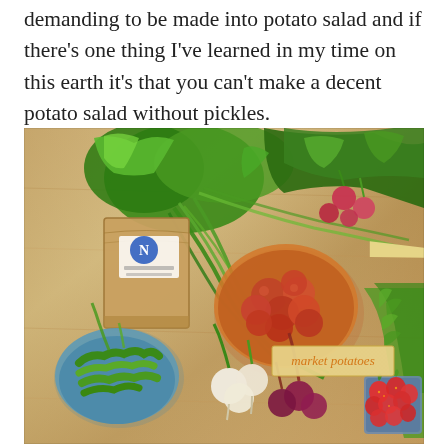demanding to be made into potato salad and if there's one thing I've learned in my time on this earth it's that you can't make a decent potato salad without pickles.
[Figure (photo): Overhead photo of fresh farm market vegetables on a wooden table including green peas in a bowl, leafy greens, green onions/scallions, red potatoes in a bowl, radishes, turnips, beets, strawberries, and a paper bag, with an orange label reading 'market potatoes']